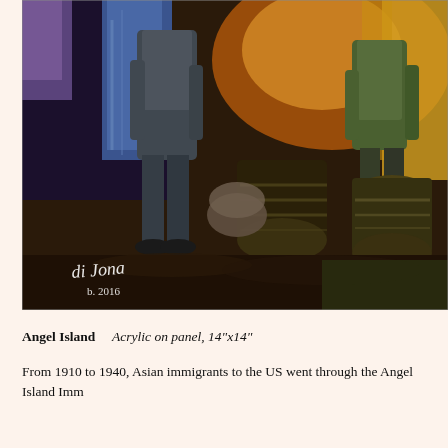[Figure (illustration): A painting showing figures from behind, likely immigrants with luggage and barrels, in an expressionist style with dark browns, blues, greens and yellows. Signed 'di Jones b. 2016' in lower left.]
Angel Island    Acrylic on panel, 14"x14"
From 1910 to 1940, Asian immigrants to the US went through the Angel Island Imm